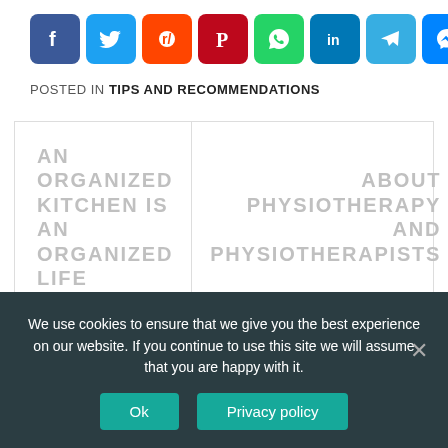[Figure (infographic): Row of social media share buttons: Facebook (blue), Twitter (light blue), Reddit (orange), Pinterest (dark red), WhatsApp (green), LinkedIn (blue), Telegram (light blue), Messenger (blue), Share/Add (blue)]
POSTED IN TIPS AND RECOMMENDATIONS
AN ORGANIZED KITCHEN IS AN ORGANIZED LIFE
ABOUT PHYSIOTHERAPY AND PHYSIOTHERAPISTS
We use cookies to ensure that we give you the best experience on our website. If you continue to use this site we will assume that you are happy with it.